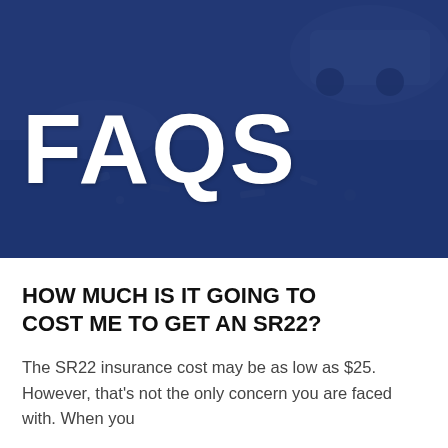[Figure (photo): Car accident scene with debris, overlaid with a dark blue semi-transparent overlay. Large white bold text 'FAQS' displayed prominently over the image.]
FAQS
HOW MUCH IS IT GOING TO COST ME TO GET AN SR22?
The SR22 insurance cost may be as low as $25. However, that's not the only concern you are faced with. When you